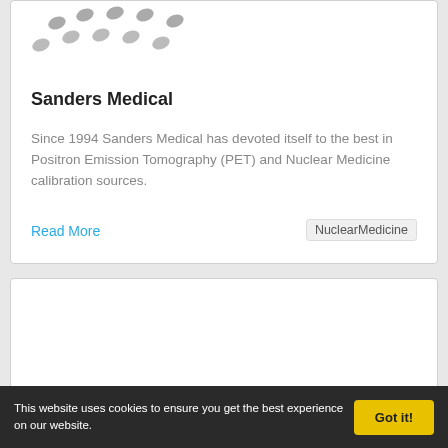[Figure (logo): Sanders Medical logo - partial dots/ellipses pattern in grey visible at top]
Sanders Medical
Since 1994 Sanders Medical has devoted itself to the best in Positron Emission Tomography (PET) and Nuclear Medicine calibration sources.
Read More
NuclearMedicine
[Figure (logo): Wardray Premise logo in dark blue with capitalized block lettering and horizontal line with circle endpoint]
This website uses cookies to ensure you get the best experience on our website.
Got it!